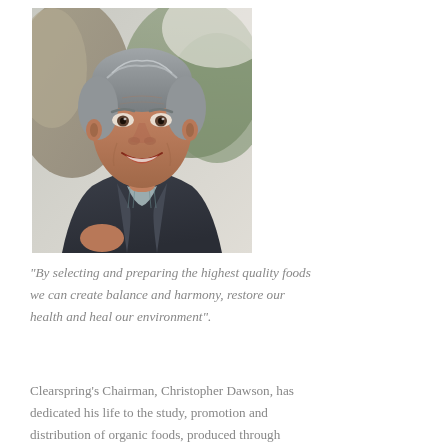[Figure (photo): Portrait photo of an older man with gray hair, smiling, wearing a dark jacket and plaid shirt, outdoors with trees/rocky background]
“By selecting and preparing the highest quality foods we can create balance and harmony, restore our health and heal our environment”.
Clearspring’s Chairman, Christopher Dawson, has dedicated his life to the study, promotion and distribution of organic foods, produced through